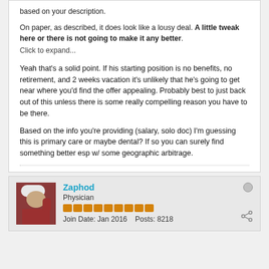based on your description.
On paper, as described, it does look like a lousy deal. A little tweak here or there is not going to make it any better.
Click to expand...
Yeah that's a solid point. If his starting position is no benefits, no retirement, and 2 weeks vacation it's unlikely that he's going to get near where you'd find the offer appealing. Probably best to just back out of this unless there is some really compelling reason you have to be there.

Based on the info you're providing (salary, solo doc) I'm guessing this is primary care or maybe dental? If so you can surely find something better esp w/ some geographic arbitrage.
Zaphod
Physician
Join Date: Jan 2016   Posts: 8218